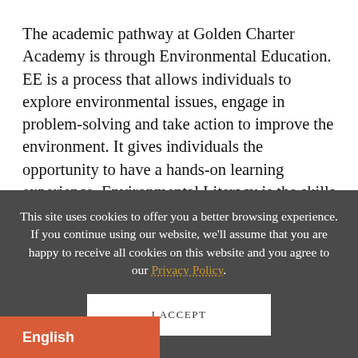The academic pathway at Golden Charter Academy is through Environmental Education. EE is a process that allows individuals to explore environmental issues, engage in problem-solving and take action to improve the environment. It gives individuals the opportunity to have a hands-on learning experience. Environmental Literacy is the skills and knowledge needed to make informed decisions regarding the
This site uses cookies to offer you a better browsing experience. If you continue using our website, we'll assume that you are happy to receive all cookies on this website and you agree to our Privacy Policy.
I ACCEPT
English